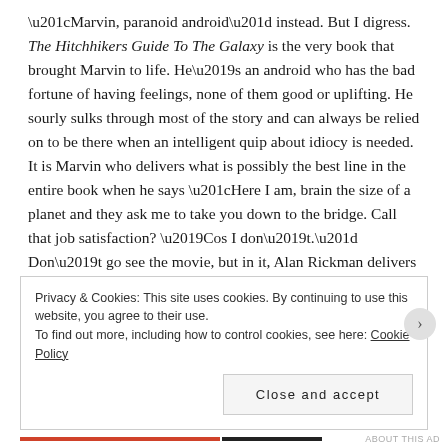“Marvin, paranoid android” instead. But I digress. The Hitchhikers Guide To The Galaxy is the very book that brought Marvin to life. He’s an android who has the bad fortune of having feelings, none of them good or uplifting. He sourly sulks through most of the story and can always be relied on to be there when an intelligent quip about idiocy is needed. It is Marvin who delivers what is possibly the best line in the entire book when he says “Here I am, brain the size of a planet and they ask me to take you down to the bridge. Call that job satisfaction? ’Cos I don’t.” Don’t go see the movie, but in it, Alan Rickman delivers this line to perfection. I even have the sound bite saved as an app on my android. Right next to my Babel Fish.
Privacy & Cookies: This site uses cookies. By continuing to use this website, you agree to their use.
To find out more, including how to control cookies, see here: Cookie Policy
Close and accept